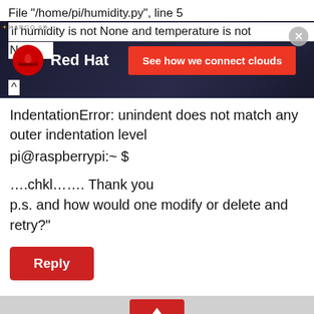File "/home/pi/humidity.py", line 5
[Figure (screenshot): Red Hat advertisement overlay on page content. Shows RedHat logo with fedora hat icon and text 'See how we connect clouds' on orange button. Dark background. Kargo AD badge top left, close button top right.]
IndentationError: unindent does not match any outer indentation level
pi@raspberrypi:~ $
….chkl……. Thank you
p.s. and how would one modify or delete and retry?"
[Figure (logo): Upwork 'Up' logo in red square with white arrow/text]